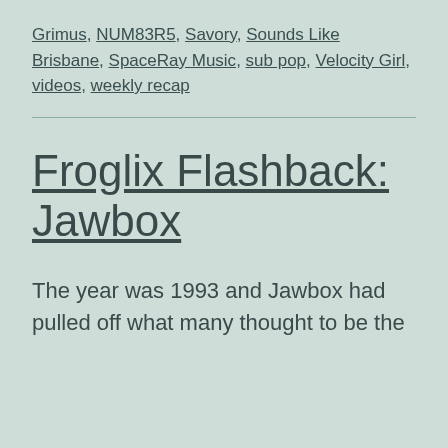Grimus, NUM83R5, Savory, Sounds Like Brisbane, SpaceRay Music, sub pop, Velocity Girl, videos, weekly recap
Froglix Flashback: Jawbox
The year was 1993 and Jawbox had pulled off what many thought to be the